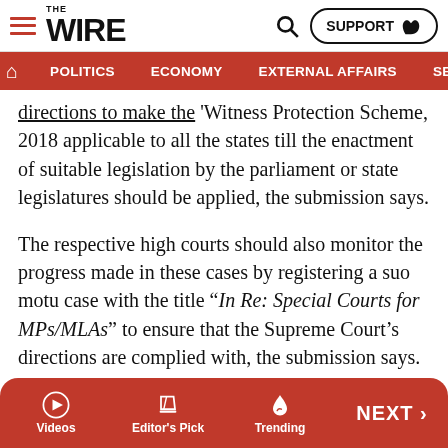THE WIRE — POLITICS | ECONOMY | EXTERNAL AFFAIRS | SECU...
directions to make the 'Witness Protection Scheme, 2018 applicable to all the states till the enactment of suitable legislation by the parliament or state legislatures should be applied, the submission says.
The respective high courts should also monitor the progress made in these cases by registering a suo motu case with the title “In Re: Special Courts for MPs/MLAs” to ensure that the Supreme Court’s directions are complied with, the submission says.
In September 2018, during the final days of then Chief Justice of India Dipak Misra’s tenure, the top court refused to bar politicians with pending criminal charges from
Videos | Editor's Pick | Trending | NEXT >